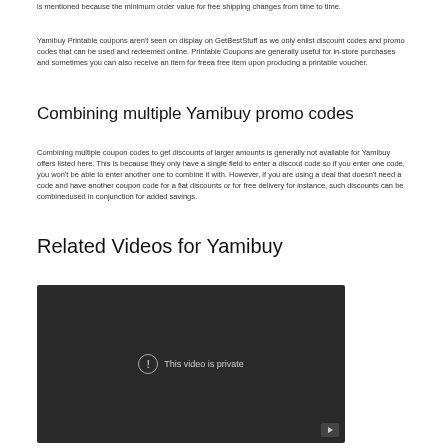is mentioned because the minimum order value for free shipping changes from time to time.
Yamibuy Printable coupons aren't seen on display on GetBestStuff as we only enlist discount codes and promo codes that can be used and redeemed online. Printable Coupons are generally useful for in-store purchases and sometimes you can also receive an item for freea free item upon producing a printable voucher.
Combining multiple Yamibuy promo codes
Combining multiple coupon codes to get discounts of larger amounts is generally not available for Yamibuy offers listed here. This is because they only have a single field to enter a discout code so if you enter one code, you won't be able to enter another one to combine it with. However, if you are using a deal that doesn't need a code and have another coupon code for a flat discounts or for free delivery for instance, such discounts can be combinedused in conjunction for added savings.
Related Videos for Yamibuy
[Figure (screenshot): Embedded video player showing 'This video is private' message with a YouTube play button in the bottom right corner.]